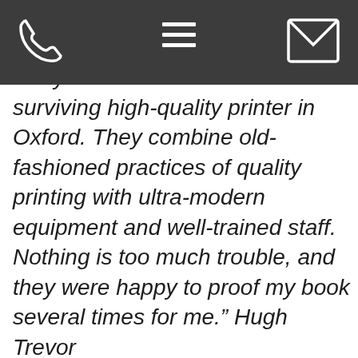[Figure (screenshot): Website navigation bar with phone icon, hamburger menu icon, and email/envelope icon on dark grey background]
“Holywell is now the main surviving high-quality printer in Oxford. They combine old-fashioned practices of quality printing with ultra-modern equipment and well-trained staff. Nothing is too much trouble, and they were happy to proof my book several times for me.” Hugh Trevor
This website uses cookies to ensure you get the best experience on our website.
Learn more
Got it!